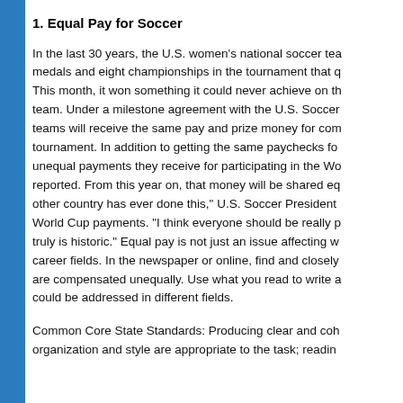1. Equal Pay for Soccer
In the last 30 years, the U.S. women's national soccer team has won medals and eight championships in the tournament that qualifies. This month, it won something it could never achieve on the field: equal pay with the men's team. Under a milestone agreement with the U.S. Soccer Federation, both teams will receive the same pay and prize money for competing in their tournament. In addition to getting the same paychecks for games, the women will also get the unequal payments they receive for participating in the World Cup equalized, the Times reported. From this year on, that money will be shared equally between the two teams. "No other country has ever done this," U.S. Soccer President said about the equalized World Cup payments. "I think everyone should be really proud of this moment, because it truly is historic." Equal pay is not just an issue affecting women's soccer, but many career fields. In the newspaper or online, find and closely read a story about workers who are compensated unequally. Use what you read to write about the issue and how it could be addressed in different fields.
Common Core State Standards: Producing clear and coherent writing in which the organization and style are appropriate to the task; reading closely what a text says.